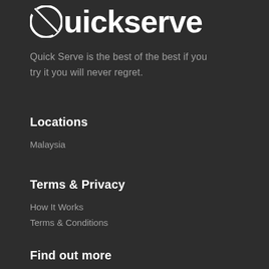[Figure (logo): QuickServe logo with circular icon and bold white text reading '-Quickserve']
Quick Serve is the best of the best if you try it you will never regret.
Locations
Malaysia
Terms & Privacy
How It Works
Terms & Conditions
Find out more